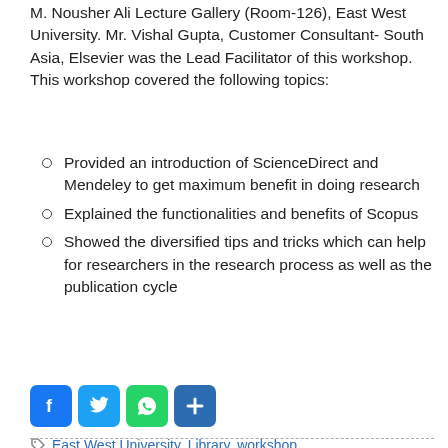M. Nousher Ali Lecture Gallery (Room-126), East West University. Mr. Vishal Gupta, Customer Consultant- South Asia, Elsevier was the Lead Facilitator of this workshop. This workshop covered the following topics:
Provided an introduction of ScienceDirect and Mendeley to get maximum benefit in doing research
Explained the functionalities and benefits of Scopus
Showed the diversified tips and tricks which can help for researchers in the research process as well as the publication cycle
» Read more
[Figure (infographic): Social share buttons: Facebook (blue), Twitter (blue), WhatsApp (green), Share/Plus (blue)]
East West University, Library, workshop